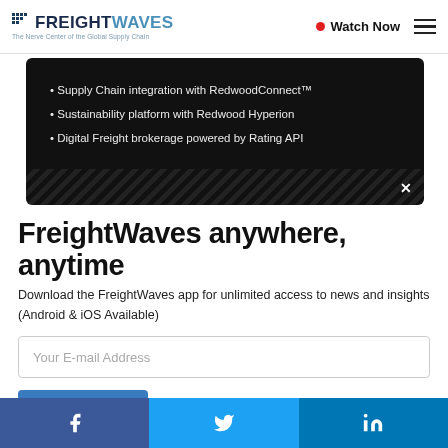FreightWaves — The Nerve Center of the Global Supply Chain | Watch Now
[Figure (screenshot): Dark advertisement panel showing bullet points: Supply Chain integration with RedwoodConnect™, Sustainability platform with Redwood Hyperion, Digital Freight brokerage powered by Rating API]
FreightWaves anywhere, anytime
Download the FreightWaves app for unlimited access to news and insights (Android & iOS Available)
Your E-mail Address
Get the App
Facebook | Twitter | LinkedIn